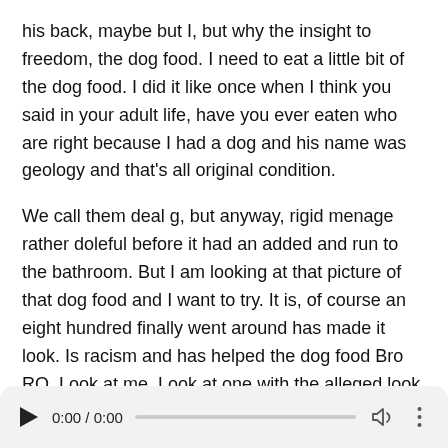his back, maybe but I, but why the insight to freedom, the dog food. I need to eat a little bit of the dog food. I did it like once when I think you said in your adult life, have you ever eaten who are right because I had a dog and his name was geology and that's all original condition.

We call them deal g, but anyway, rigid menage rather doleful before it had an added and run to the bathroom. But I am looking at that picture of that dog food and I want to try. It is, of course an eight hundred finally went around has made it look. Is racism and has helped the dog food Bro RO. Look at me. Look at one with the alleged look. What little picture are you all right and famine? Have you ever eaten dull, for which is ask it in your adult life? Call us up right now is to breakfast club. The morning morning,
[Figure (other): Audio player widget with play button, time display showing 0:00 / 0:00, progress bar, volume icon, and more options icon]